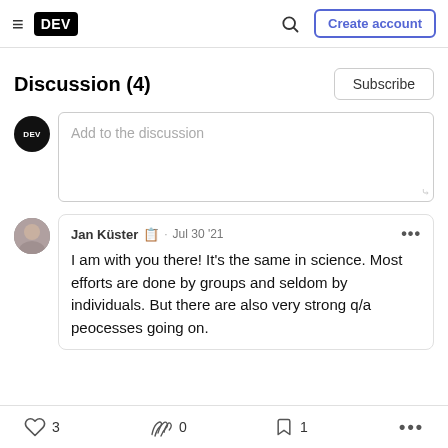DEV — Create account
Discussion (4)
Subscribe
Add to the discussion
Jan Küster · Jul 30 '21
I am with you there! It's the same in science. Most efforts are done by groups and seldom by individuals. But there are also very strong q/a peocesses going on.
3  0  1  ...